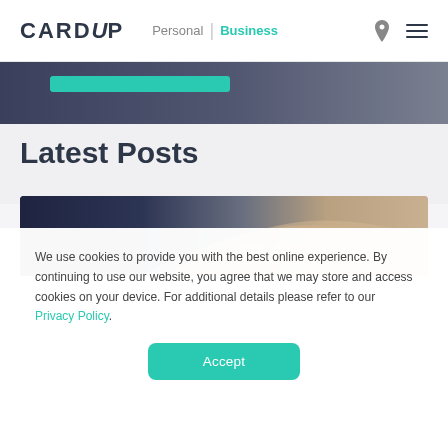CARDUp  Personal | Business
[Figure (screenshot): Partial hero image strip showing a teal/green button on a dark background]
Latest Posts
[Figure (photo): Close-up photo of a hand pressing keys on a white keyboard, against a blurred background]
We use cookies to provide you with the best online experience. By continuing to use our website, you agree that we may store and access cookies on your device. For additional details please refer to our Privacy Policy.
Accept